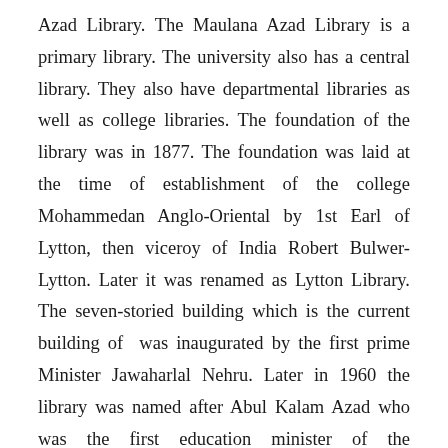Azad Library. The Maulana Azad Library is a primary library. The university also has a central library. They also have departmental libraries as well as college libraries. The foundation of the library was in 1877. The foundation was laid at the time of establishment of the college Mohammedan Anglo-Oriental by 1st Earl of Lytton, then viceroy of India Robert Bulwer-Lytton. Later it was renamed as Lytton Library. The seven-storied building which is the current building of  was inaugurated by the first prime Minister Jawaharlal Nehru. Later in 1960 the library was named after Abul Kalam Azad who was the first education minister of the independent India Maulana Azad. The institution has well educated faculty members, who have good experience in the field. They are available for the students every time to give all the support. The college also provides hostel facilities for both girls and